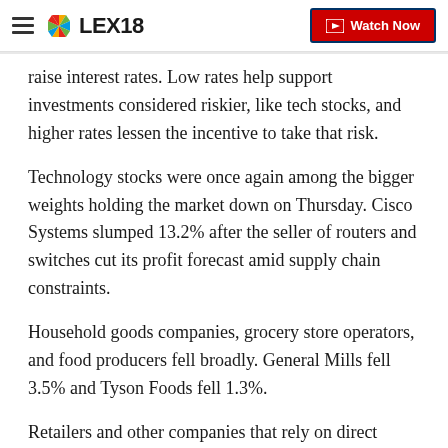LEX18 | Watch Now
raise interest rates. Low rates help support investments considered riskier, like tech stocks, and higher rates lessen the incentive to take that risk.
Technology stocks were once again among the bigger weights holding the market down on Thursday. Cisco Systems slumped 13.2% after the seller of routers and switches cut its profit forecast amid supply chain constraints.
Household goods companies, grocery store operators, and food producers fell broadly. General Mills fell 3.5% and Tyson Foods fell 1.3%.
Retailers and other companies that rely on direct